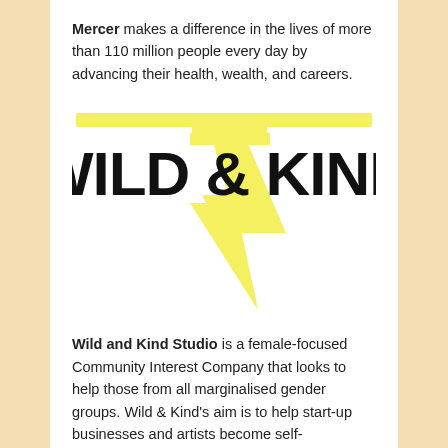Mercer makes a difference in the lives of more than 110 million people every day by advancing their health, wealth, and careers.
[Figure (logo): Wild & Kind logo featuring large bold black text 'WILD & KIND' with a yellow lightning bolt forming the letter T and extending downward, with a yellow horizontal bar at the top]
Wild and Kind Studio is a female-focused Community Interest Company that looks to help those from all marginalised gender groups. Wild & Kind's aim is to help start-up businesses and artists become self-